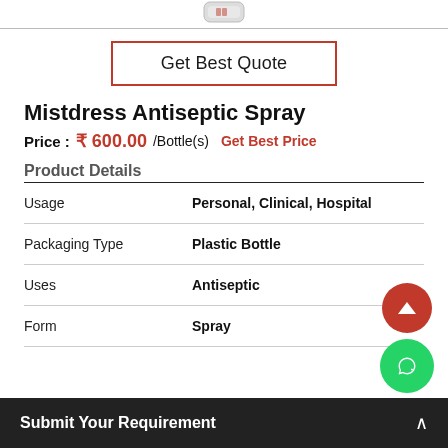[Figure (photo): Partial view of a product bottle/container at top of page]
Get Best Quote
Mistdress Antiseptic Spray
Price : ₹ 600.00 /Bottle(s) Get Best Price
Product Details
|  |  |
| --- | --- |
| Usage | Personal, Clinical, Hospital |
| Packaging Type | Plastic Bottle |
| Uses | Antiseptic |
| Form | Spray |
Submit Your Requirement